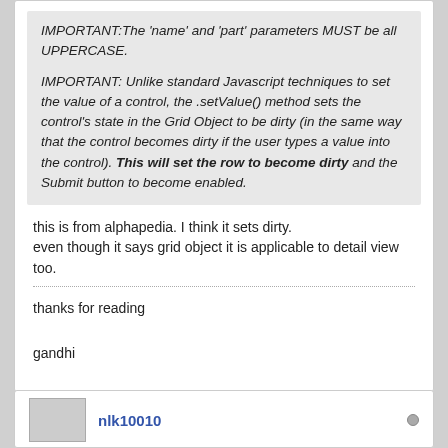IMPORTANT:The 'name' and 'part' parameters MUST be all UPPERCASE.

IMPORTANT: Unlike standard Javascript techniques to set the value of a control, the .setValue() method sets the control's state in the Grid Object to be dirty (in the same way that the control becomes dirty if the user types a value into the control). This will set the row to become dirty and the Submit button to become enabled.
this is from alphapedia. I think it sets dirty.
even though it says grid object it is applicable to detail view too.
thanks for reading

gandhi

version 11 3381 - 4096
mysql backend
http://www.alphawebprogramming.blogspot.com
ggandhi344@gmail.com
Skype:ggandhi344@gmail.com
1 914 924 5171
nlk10010